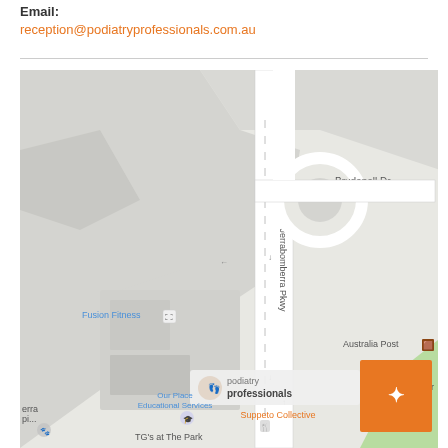Email:
reception@podiatryprofessionals.com.au
[Figure (map): Google Maps screenshot showing the location of Podiatry Professionals near Jerrabomberra Pkwy and Brudenell Dr, with nearby landmarks including Fusion Fitness, Australia Post, Our Place Educational Services, Suppeto Collective, TG's at The Park, and A.C.T. Pool Doctor. An orange navigation button is visible in the bottom right corner.]